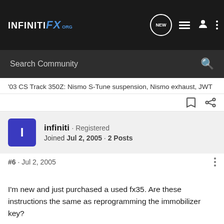INFINITI FX .ORG
Search Community
'03 CS Track 350Z: Nismo S-Tune suspension, Nismo exhaust, JWT
infiniti · Registered
Joined Jul 2, 2005 · 2 Posts
#6 · Jul 2, 2005
I'm new and just purchased a used fx35. Are these instructions the same as reprogramming the immobilizer key?
I received all three factory keys, the 2 master and 1 valet BUT only 1 of the master keys turns the car on. The other master key and valet key does not turn on the car, it only opens the doors.